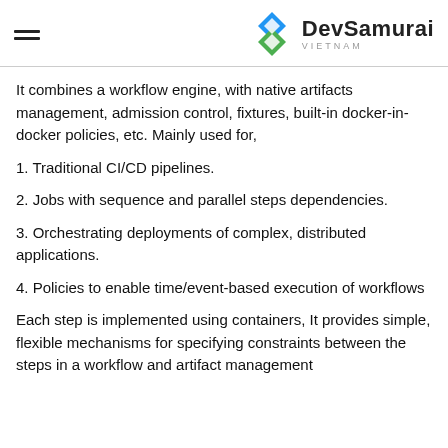DevSamurai VIETNAM
It combines a workflow engine, with native artifacts management, admission control, fixtures, built-in docker-in-docker policies, etc. Mainly used for,
1. Traditional CI/CD pipelines.
2. Jobs with sequence and parallel steps dependencies.
3. Orchestrating deployments of complex, distributed applications.
4. Policies to enable time/event-based execution of workflows
Each step is implemented using containers, It provides simple, flexible mechanisms for specifying constraints between the steps in a workflow and artifact management